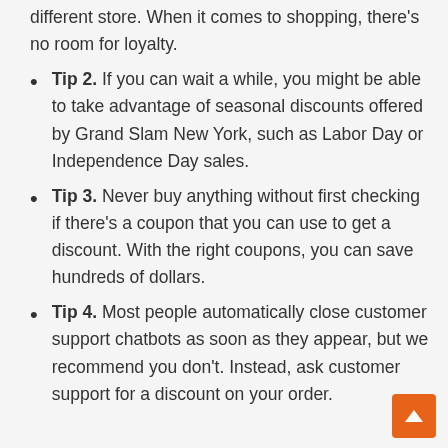different store. When it comes to shopping, there's no room for loyalty.
Tip 2. If you can wait a while, you might be able to take advantage of seasonal discounts offered by Grand Slam New York, such as Labor Day or Independence Day sales.
Tip 3. Never buy anything without first checking if there's a coupon that you can use to get a discount. With the right coupons, you can save hundreds of dollars.
Tip 4. Most people automatically close customer support chatbots as soon as they appear, but we recommend you don't. Instead, ask customer support for a discount on your order.